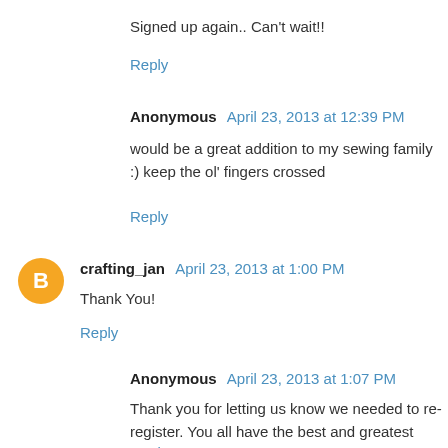Signed up again.. Can't wait!!
Reply
Anonymous April 23, 2013 at 12:39 PM
would be a great addition to my sewing family :) keep the ol' fingers crossed
Reply
[Figure (illustration): Orange circular Blogger avatar icon with letter B]
crafting_jan April 23, 2013 at 1:00 PM
Thank You!
Reply
Anonymous April 23, 2013 at 1:07 PM
Thank you for letting us know we needed to re-register. You all have the best and greatest number of giveaways.
Reply